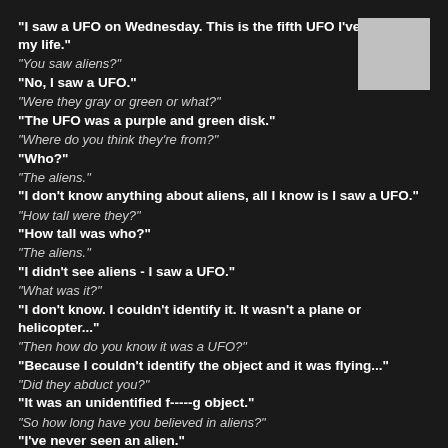"I saw a UFO on Wednesday. This is the fifth UFO I've seen in my life."
"You saw aliens?"
"No, I saw a UFO."
"Were they gray or green or what?"
"The UFO was a purple and green disk."
"Where do you think they're from?"
"Who?"
"The aliens."
"I don't know anything about aliens, all I know is I saw a UFO."
"How tall were they?"
"How tall was who?"
"The aliens."
"I didn't see aliens - I saw a UFO."
"What was it?"
"I don't know. I couldn't identify it. It wasn't a plane or helicopter..."
"Then how do you know it was a UFO?"
"Because I couldn't identify the object and it was flying..."
"Did they abduct you?"
"It was an unidentified f-----g object."
"So how long have you believed in aliens?"
"I've never seen an alien."
"But..."
"It was probably just a weather balloon."
"Yep."
[Figure (other): Gray rectangle in top-right corner]